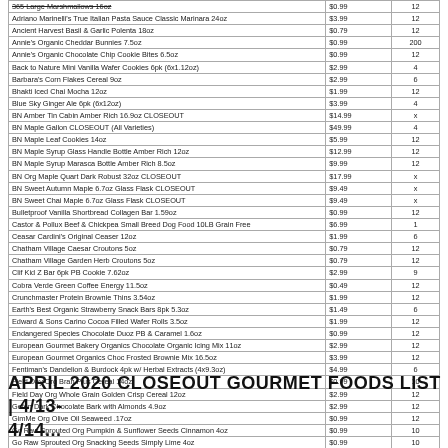| Product | Price | Qty |
| --- | --- | --- |
| 365 Large Marshmallows 16oz | $0.99 | 12 |
| Adriano Marinelli's True Italian Pasta Sauce Classic Marinara 24oz | $3.99 | 12 |
| Ancient Harvest Basil & Garlic Polenta 18oz | $0.79 | 12 |
| Annie's Organic Cheddar Bunnies 7.5oz | $0.99 | 200 |
| Annie's Organic Chocolate Chip Cookie Bites 6.5oz | $0.99 | 12 |
| Back to Nature Mini Vanilla Wafer Cookies 6pk (6x1.12oz) | $2.99 | 4 |
| Barbara's Corn Flakes Cereal 9oz | $2.99 | 6 |
| Bhakti Iced Chai Mocha 12oz | $1.99 | 12 |
| Blue Sky Ginger Ale 6pk (6x12oz) | $3.99 | 4 |
| BN Amber Tin Cabin Amber Rich 16.9oz CLOSEOUT | $14.99 | x |
| BN Maple Gallon CLOSEOUT (All Varieties) | $49.99 | 4 |
| BN Maple Leaf Cookies 14oz | $5.99 | 12 |
| BN Maple Syrup Glass Handle Bottle Amber Rich 12oz | $12.99 | 12 |
| BN Maple Syrup Marasca Bottle Amber Rich 8.5oz | $9.99 | 12 |
| BN Org Maple Quart Dark Robust 32oz CLOSEOUT | $17.99 | x |
| BN Sweet Autumn Maple 6.7oz Glass Flask CLOSEOUT | $9.49 | x |
| BN Sweet Chai Maple 6.7oz Glass Flask CLOSEOUT | $9.49 | x |
| Bulletproof Vanilla Shortbread Collagen Bar 1.59oz | $0.99 | 12 |
| Castor & Pollux Beef & Chickpea Small Breed Dog Food 10LB Grain Free | $6.99 | 1 |
| Ceasar Cardini's Original Ceaser 12oz | $1.99 | 6 |
| Chatham Village Caesar Croutons 5oz | $0.79 | 12 |
| Chatham Village Garden Herb Croutons 5oz | $0.79 | 12 |
| Clif Kid Z Bar 6pk PB Cookie 7.62oz | $2.99 | 9 |
| Cobra Verde Green Coffee Energy 11.5oz | $0.49 | 12 |
| Crunchmaster Protein Brownie Thins 3.54oz | $1.99 | 12 |
| Earth's Best Organic Strawberry Snack Bars 8pk 5.3oz | $1.49 | 6 |
| Edward & Sons Carino Cocoa Filled Wafer Rolls 3.5oz | $1.99 | 12 |
| Endangered Species Chocolate Duoz PB & Caramel 1.6oz | $0.99 | 12 |
| European Gourmet Bakery Organics Chocolate Organic Icing Mix 11oz | $2.99 | 12 |
| European Gourmet Organics Choc Frosted Brownie Mix 16.5oz | $3.99 | 12 |
| Fentiman's Dandelion & Burdock 4pk w/ Herbal Extracts (4x9.3oz) | $4.99 | 6 |
| Field Day Org Bran Plus Cereal 14oz | $0.99 | 10 |
| Field Day Org Whole Grain Golden Crisp Cereal 12oz | $2.99 | 12 |
| Gefen Dark Chocolate Bark with Almonds 4.9oz | $2.99 | 12 |
| GimMe Org Olive Oil Seaweed .17oz | $0.99 | 12 |
| Go Raw Sprouted Org Pumpkin & Sunflower Seeds Cinnamon 4oz | $0.99 | 10 |
| Go Raw Sprouted Org Snacking Seeds Simply Lime 4oz | $0.99 | 10 |
| Go Raw Sprouted Org Sunflower Seeds w/ Sea Salt 4oz | $0.99 | 10 |
APRIL 2020 CLOSEOUT GOURMET FOODS LIST | 4/13-4/14...